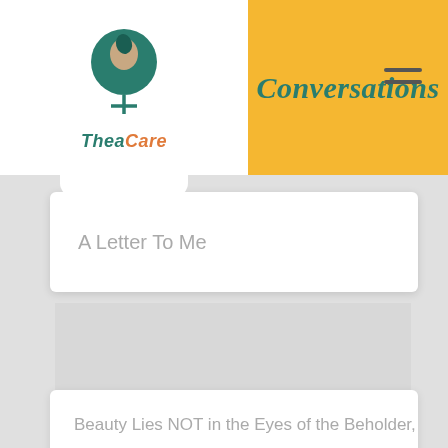Conversations
[Figure (logo): TheaCare logo: teal tree/head icon above a female symbol cross, with italic text 'TheaCare' in teal and orange]
A Letter To Me
[Figure (photo): Gray placeholder image for a blog post thumbnail]
Beauty Lies NOT in the Eyes of the Beholder,